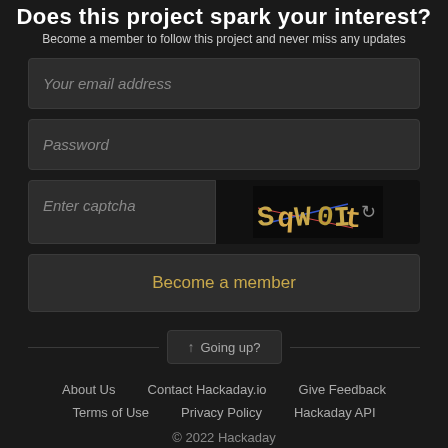Does this project spark your interest?
Become a member to follow this project and never miss any updates
[Figure (screenshot): Web form with email address input field, password input field, captcha entry field alongside a colorful captcha image showing 'SqW0It' with a refresh icon, and a 'Become a member' button]
↑ Going up?
About Us   Contact Hackaday.io   Give Feedback   Terms of Use   Privacy Policy   Hackaday API   © 2022 Hackaday